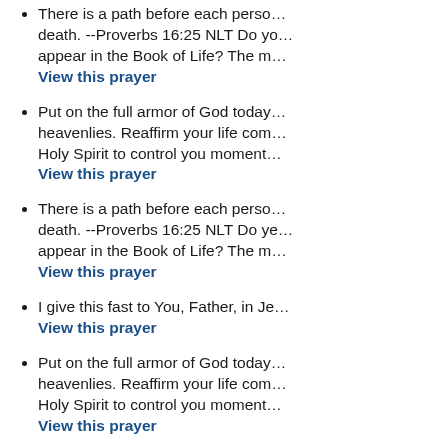There is a path before each perso... death. --Proverbs 16:25 NLT Do yo... appear in the Book of Life? The m... View this prayer
Put on the full armor of God today... heavenlies. Reaffirm your life com... Holy Spirit to control you moment... View this prayer
There is a path before each perso... death. --Proverbs 16:25 NLT Do ye... appear in the Book of Life? The m... View this prayer
I give this fast to You, Father, in Je... View this prayer
Put on the full armor of God today... heavenlies. Reaffirm your life com... Holy Spirit to control you moment... View this prayer